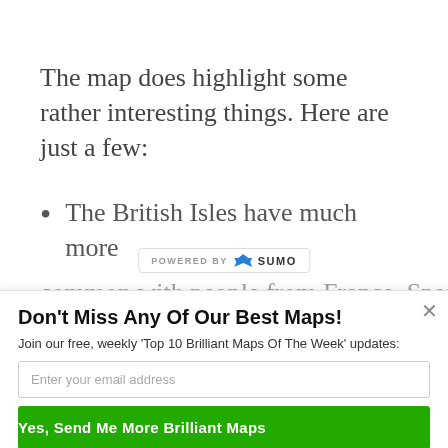The map does highlight some rather interesting things. Here are just a few:
The British Isles have much more common with people from France, Spai...
[Figure (logo): POWERED BY SUMO banner with crown icon]
Don't Miss Any Of Our Best Maps!
Join our free, weekly 'Top 10 Brilliant Maps Of The Week' updates:
Enter your email address
Yes, Send Me More Brilliant Maps